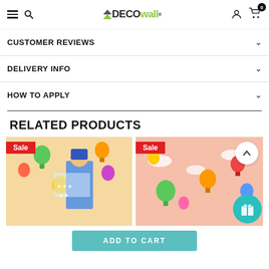DECOwall navigation bar
CUSTOMER REVIEWS
DELIVERY INFO
HOW TO APPLY
RELATED PRODUCTS
[Figure (photo): Child wearing a star-patterned cape with hot air balloon wall stickers in background, Sale badge on image]
[Figure (photo): Pink background with colorful hot air balloon illustrations, Sale badge on image]
ADD TO CART